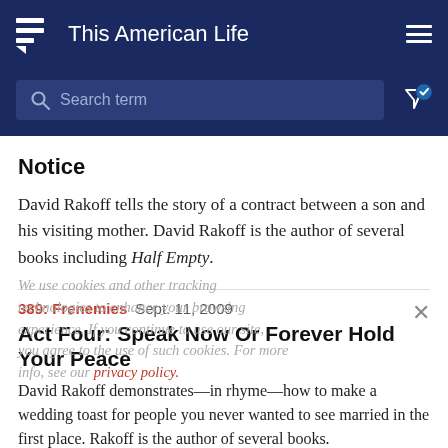This American Life
Search term
Notice
David Rakoff tells the story of a contract between a son and his visiting mother. David Rakoff is the author of several books including Half Empty.
We use cookies and other tracking technologies to enhance your browsing experience. If you continue to use our site, you agree to the use of such cookies. For more info, see our privacy policy.
389: Frenemies   Sept. 11, 2009
Act Four: Speak Now Or Forever Hold Your Peace
David Rakoff demonstrates—in rhyme—how to make a wedding toast for people you never wanted to see married in the first place. Rakoff is the author of several books.